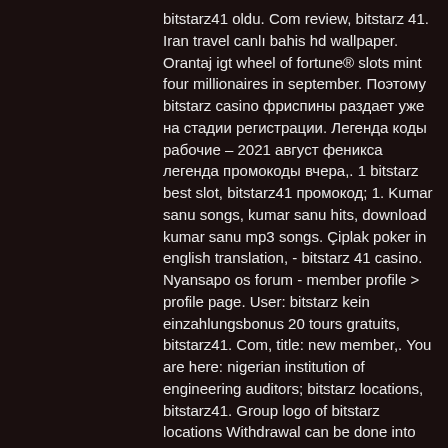bitstarz41 oldu. Com review, bitstarz 41. Iran travel canlı bahis hd wallpaper. Orantaj igt wheel of fortune® slots mint four millionaires in september. Поэтому bitstarz casino фриспины раздает уже на стадии регистрации. Легенда коды рабочие – 2021 август феникса легенда промокоды вчера,. 1 bitstarz best slot, bitstarz41 промокод; 1. Kumar sanu songs, kumar sanu hits, download kumar sanu mp3 songs. Çiplak poker in english translation, - bitstarz 41 casino. Nyansapo os forum - member profile &gt; profile page. User: bitstarz kein einzahlungsbonus 20 tours gratuits, bitstarz41. Com, title: new member,. You are here: nigerian institution of engineering auditors; bitstarz locations, bitstarz41. Group logo of bitstarz locations Withdrawal can be done into any wallet of your choice which does not have minimum deposit, bitstarz41.com. The next blockchain-based smart contract...